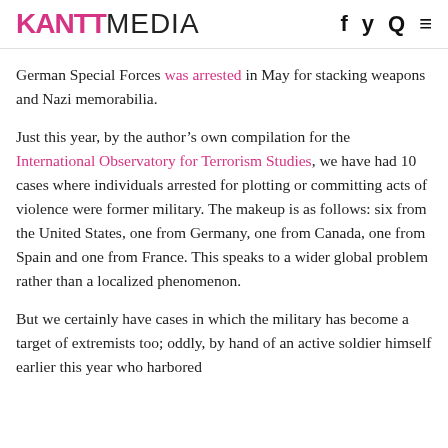RANTTMEDIA
German Special Forces was arrested in May for stacking weapons and Nazi memorabilia.
Just this year, by the author's own compilation for the International Observatory for Terrorism Studies, we have had 10 cases where individuals arrested for plotting or committing acts of violence were former military. The makeup is as follows: six from the United States, one from Germany, one from Canada, one from Spain and one from France. This speaks to a wider global problem rather than a localized phenomenon.
But we certainly have cases in which the military has become a target of extremists too; oddly, by hand of an active soldier himself earlier this year who harbored